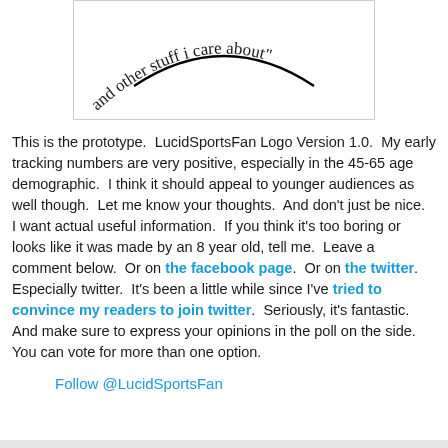[Figure (logo): LucidSportsFan logo showing curved text 'and other stuff i care about' arranged in a circular arc with a smile-like curve, rendered in black serif text on white background]
This is the prototype.  LucidSportsFan Logo Version 1.0.  My early tracking numbers are very positive, especially in the 45-65 age demographic.  I think it should appeal to younger audiences as well though.  Let me know your thoughts.  And don't just be nice.  I want actual useful information.  If you think it's too boring or looks like it was made by an 8 year old, tell me.  Leave a comment below.  Or on the facebook page.  Or on the twitter.  Especially twitter.  It's been a little while since I've tried to convince my readers to join twitter.  Seriously, it's fantastic.  And make sure to express your opinions in the poll on the side.  You can vote for more than one option.
Follow @LucidSportsFan